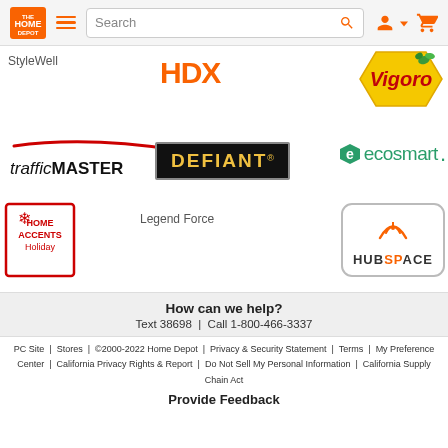[Figure (logo): The Home Depot website header with orange logo, hamburger menu, search bar, account icon, and cart icon]
[Figure (logo): StyleWell brand logo]
[Figure (logo): HDX brand logo in orange]
[Figure (logo): Vigoro brand logo - yellow hexagonal badge with red text and green leaves]
[Figure (logo): trafficMASTER brand logo with red swoosh line]
[Figure (logo): DEFIANT brand logo - dark badge with gold text]
[Figure (logo): ecosmart brand logo in green]
[Figure (logo): Legend Force brand logo]
[Figure (logo): Home Accents Holiday brand logo - red bordered square]
[Figure (logo): HUBSPACE brand logo - rounded rectangle with wifi arcs above letter A]
How can we help?
Text 38698  |  Call 1-800-466-3337
PC Site  |  Stores  |  ©2000-2022 Home Depot  |  Privacy & Security Statement  |  Terms  |  My Preference Center  |  California Privacy Rights & Report  |  Do Not Sell My Personal Information  |  California Supply Chain Act
Provide Feedback